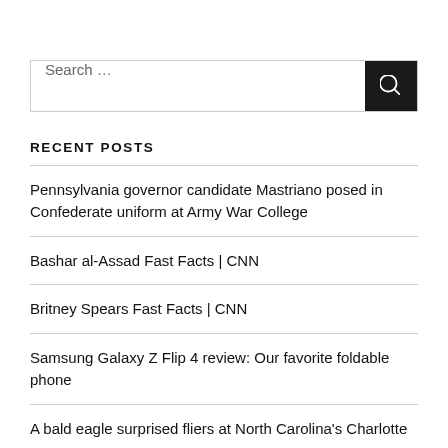[Figure (other): Search input field with dark search button containing magnifying glass icon]
RECENT POSTS
Pennsylvania governor candidate Mastriano posed in Confederate uniform at Army War College
Bashar al-Assad Fast Facts | CNN
Britney Spears Fast Facts | CNN
Samsung Galaxy Z Flip 4 review: Our favorite foldable phone
A bald eagle surprised fliers at North Carolina's Charlotte